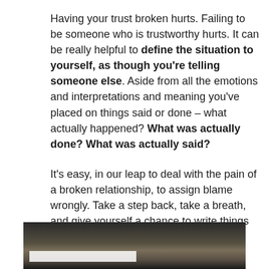Having your trust broken hurts. Failing to be someone who is trustworthy hurts. It can be really helpful to define the situation to yourself, as though you're telling someone else. Aside from all the emotions and interpretations and meaning you've placed on things said or done – what actually happened? What was actually done? What was actually said?
It's easy, in our leap to deal with the pain of a broken relationship, to assign blame wrongly. Take a step back, take a breath, and give yourself a chance to write things out.
[Figure (photo): A framed photograph showing a dark landscape with sky, partially cropped at the bottom of the page. A white horizontal bar is visible at the bottom portion of the image.]